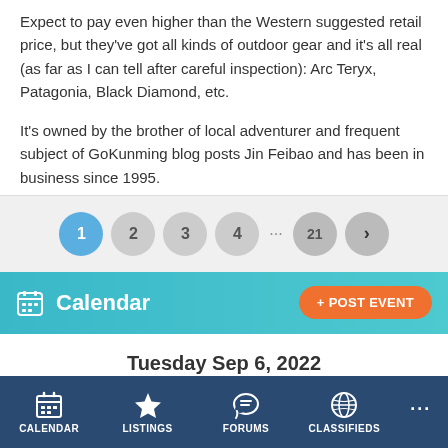Expect to pay even higher than the Western suggested retail price, but they've got all kinds of outdoor gear and it's all real (as far as I can tell after careful inspection): Arc Teryx, Patagonia, Black Diamond, etc.
It's owned by the brother of local adventurer and frequent subject of GoKunming blog posts Jin Feibao and has been in business since 1995.
Pagination: 1 2 3 4 ... 21 >
Calendar
+ POST EVENT
Tuesday Sep 6, 2022
CALENDAR  LISTINGS  FORUMS  CLASSIFIEDS  ...